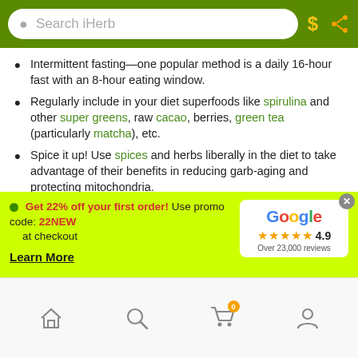Search iHerb
Intermittent fasting—one popular method is a daily 16-hour fast with an 8-hour eating window.
Regularly include in your diet superfoods like spirulina and other super greens, raw cacao, berries, green tea (particularly matcha), etc.
Spice it up! Use spices and herbs liberally in the diet to take advantage of their benefits in reducing garb-aging and protecting mitochondria.
Take essential foundational dietary supplements to support good health:
A high-quality multiple vitamin and mineral
Get 22% off your first order! Use promo code: 22NEW at checkout
Learn More
[Figure (other): Google rating widget showing 4.9 stars and Over 23,000 reviews]
Home | Search | Cart (0) | Account